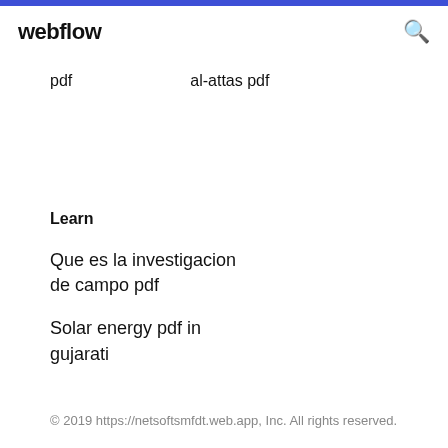webflow
pdf    al-attas pdf
Learn
Que es la investigacion de campo pdf
Solar energy pdf in gujarati
© 2019 https://netsoftsmfdt.web.app, Inc. All rights reserved.